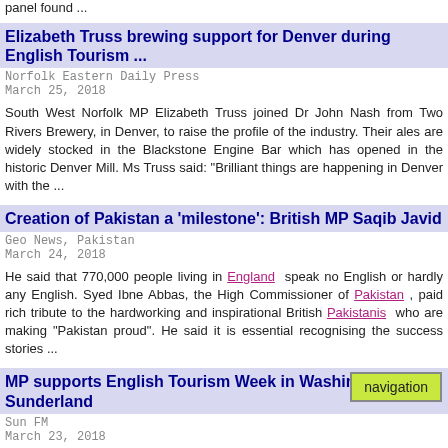panel found ...
Elizabeth Truss brewing support for Denver during English Tourism ...
Norfolk Eastern Daily Press
March 25, 2018
South West Norfolk MP Elizabeth Truss joined Dr John Nash from Two Rivers Brewery, in Denver, to raise the profile of the industry. Their ales are widely stocked in the Blackstone Engine Bar which has opened in the historic Denver Mill. Ms Truss said: "Brilliant things are happening in Denver with the ...
Creation of Pakistan a 'milestone': British MP Saqib Javid
Geo News, Pakistan
March 24, 2018
He said that 770,000 people living in England speak no English or hardly any English. Syed Ibne Abbas, the High Commissioner of Pakistan , paid rich tribute to the hardworking and inspirational British Pakistanis who are making "Pakistan proud". He said it is essential recognising the success stories ...
MP supports English Tourism Week in Washington and Sunderland
Sun FM
March 23, 2018
navigation